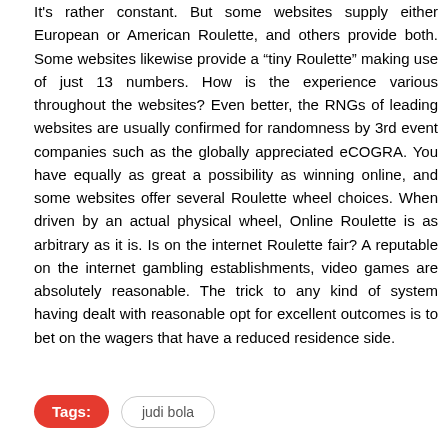It's rather constant. But some websites supply either European or American Roulette, and others provide both. Some websites likewise provide a “tiny Roulette” making use of just 13 numbers. How is the experience various throughout the websites? Even better, the RNGs of leading websites are usually confirmed for randomness by 3rd event companies such as the globally appreciated eCOGRA. You have equally as great a possibility as winning online, and some websites offer several Roulette wheel choices. When driven by an actual physical wheel, Online Roulette is as arbitrary as it is. Is on the internet Roulette fair? A reputable on the internet gambling establishments, video games are absolutely reasonable. The trick to any kind of system having dealt with reasonable opt for excellent outcomes is to bet on the wagers that have a reduced residence side.
Tags: judi bola